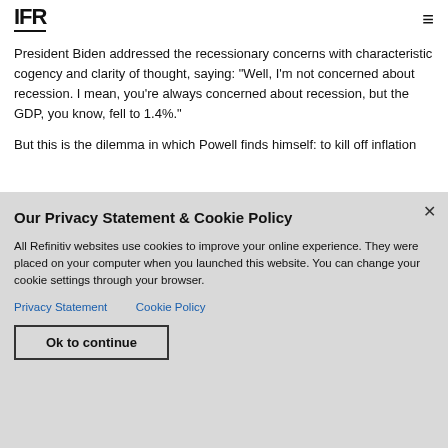IFR
President Biden addressed the recessionary concerns with characteristic cogency and clarity of thought, saying: "Well, I'm not concerned about recession. I mean, you're always concerned about recession, but the GDP, you know, fell to 1.4%."
But this is the dilemma in which Powell finds himself: to kill off inflation
Our Privacy Statement & Cookie Policy
All Refinitiv websites use cookies to improve your online experience. They were placed on your computer when you launched this website. You can change your cookie settings through your browser.
Privacy Statement   Cookie Policy
Ok to continue